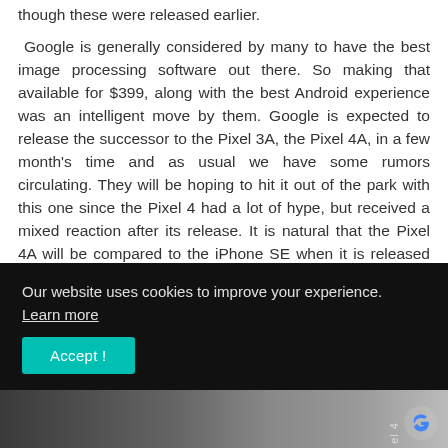though these were released earlier.
Google is generally considered by many to have the best image processing software out there. So making that available for $399, along with the best Android experience was an intelligent move by them. Google is expected to release the successor to the Pixel 3A, the Pixel 4A, in a few month's time and as usual we have some rumors circulating. They will be hoping to hit it out of the park with this one since the Pixel 4 had a lot of hype, but received a mixed reaction after its release. It is natural that the Pixel 4A will be compared to the iPhone SE when it is released but if the rumors are true, then the Pixel 4A will be a much
Our website uses cookies to improve your experience. Learn more
Accept !
[Figure (photo): Partial photo of a smartphone (Pixel 4A) with Google logo visible, shown at bottom of page]